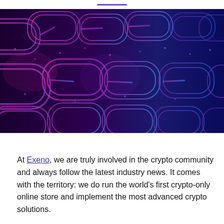[Figure (illustration): Abstract 3D blockchain chain links rendered in neon pink/magenta and blue wireframe style on a dark background, representing blockchain technology.]
At Exeno, we are truly involved in the crypto community and always follow the latest industry news. It comes with the territory: we do run the world’s first crypto-only online store and implement the most advanced crypto solutions.